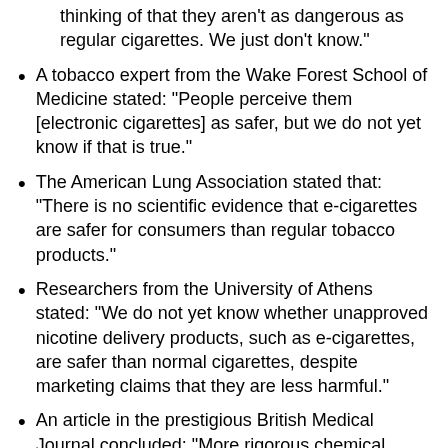thinking of that they aren't as dangerous as regular cigarettes. We just don't know."
A tobacco expert from the Wake Forest School of Medicine stated: "People perceive them [electronic cigarettes] as safer, but we do not yet know if that is true."
The American Lung Association stated that: "There is no scientific evidence that e-cigarettes are safer for consumers than regular tobacco products."
Researchers from the University of Athens stated: "We do not yet know whether unapproved nicotine delivery products, such as e-cigarettes, are safer than normal cigarettes, despite marketing claims that they are less harmful."
An article in the prestigious British Medical Journal concluded: "More rigorous chemical analyses are needed, followed by extensive research involving animal studies and, finally, clinical trials in humans. Until these crucial